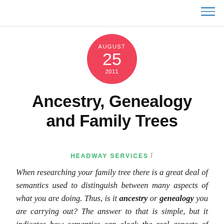[Figure (other): Date badge circle showing AUGUST 25 2011 in white text on pink/red circular background]
Ancestry, Genealogy and Family Trees
HEADWAY SERVICES /
When researching your family tree there is a great deal of semantics used to distinguish between many aspects of what you are doing. Thus, is it ancestry or genealogy you are carrying out? The answer to that is simple, but it indicates how semantics can cloak the real aspects of what you are trying to achieve – even